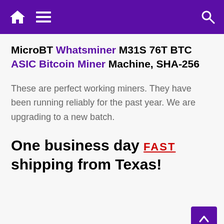MicroBT Whatsminer M31S 76T BTC ASIC Bitcoin Miner Machine, SHA-256 [navigation header with home, menu, search icons]
MicroBT Whatsminer M31S 76T BTC ASIC Bitcoin Miner Machine, SHA-256
These are perfect working miners. They have been running reliably for the past year. We are upgrading to a new batch.
One business day FAST shipping from Texas!
No tariffs...